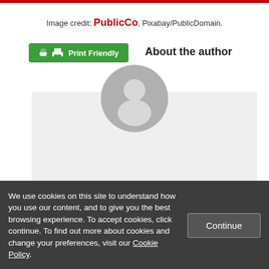Image credit: PublicCo, Pixabay/PublicDomain.
[Figure (other): Print Friendly green button with printer icon]
About the author
[Figure (illustration): Grey circular avatar/placeholder person silhouette]
LSE BPP
We use cookies on this site to understand how you use our content, and to give you the best browsing experience. To accept cookies, click continue. To find out more about cookies and change your preferences, visit our Cookie Policy.